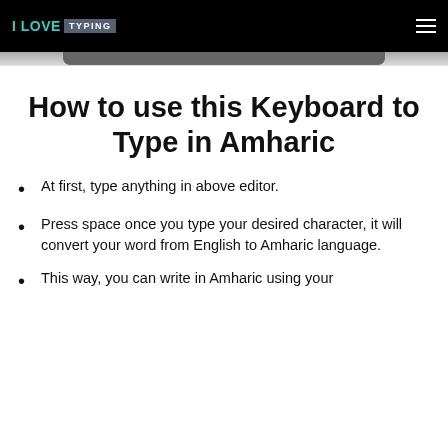I LOVE TYPING
How to use this Keyboard to Type in Amharic
At first, type anything in above editor.
Press space once you type your desired character, it will convert your word from English to Amharic language.
This way, you can write in Amharic using your